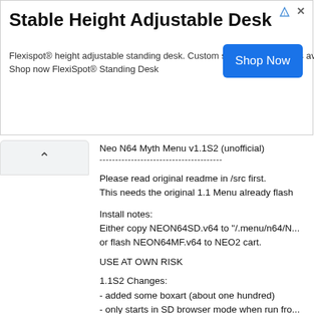[Figure (screenshot): Advertisement banner for Stable Height Adjustable Desk by Flexispot with Shop Now button]
Stable Height Adjustable Desk
Flexispot® height adjustable standing desk. Custom solid wood desktops available. Shop now FlexiSpot® Standing Desk
Neo N64 Myth Menu v1.1S2 (unofficial)
---------------------------------------
Please read original readme in /src first.
This needs the original 1.1 Menu already flash
Install notes:
Either copy NEON64SD.v64 to "/.menu/n64/N...
or flash NEON64MF.v64 to NEO2 cart.
USE AT OWN RISK
1.1S2 Changes:
- added some boxart (about one hundred)
- only starts in SD browser mode when run fro...
- code cleanup thanks to cw
1.1S Changes from original menu:
- starts in SD browser mode
- options enabled by default
- auto cic and save configuration (not all rom s...